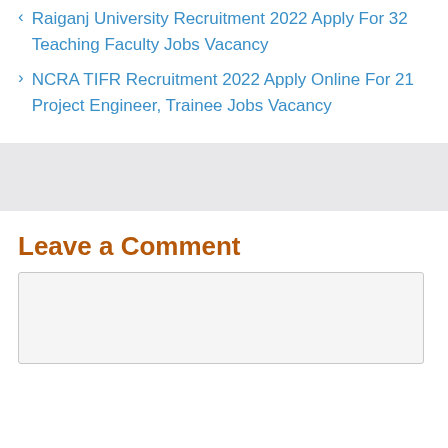< Raiganj University Recruitment 2022 Apply For 32 Teaching Faculty Jobs Vacancy
> NCRA TIFR Recruitment 2022 Apply Online For 21 Project Engineer, Trainee Jobs Vacancy
Leave a Comment